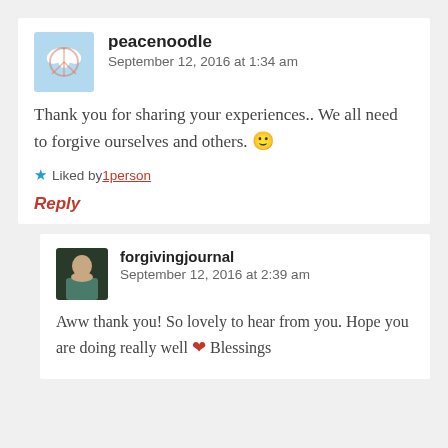[Figure (illustration): Avatar image for user peacenoodle — colorful peace dove illustration]
peacenoodle   September 12, 2016 at 1:34 am
Thank you for sharing your experiences.. We all need to forgive ourselves and others. 🙂
★ Liked by 1person
Reply
[Figure (photo): Avatar photo for user forgivingjournal — woman in teal top]
forgivingjournal   September 12, 2016 at 2:39 am
Aww thank you! So lovely to hear from you. Hope you are doing really well ❤ Blessings